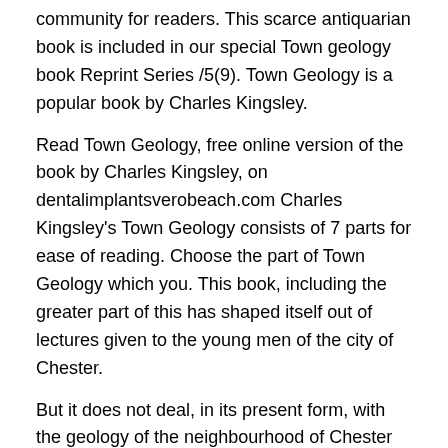community for readers. This scarce antiquarian book is included in our special Town geology book Reprint Series /5(9). Town Geology is a popular book by Charles Kingsley.
Read Town Geology, free online version of the book by Charles Kingsley, on dentalimplantsverobeach.com Charles Kingsley's Town Geology consists of 7 parts for ease of reading. Choose the part of Town Geology which you. This book, including the greater part of this has shaped itself out of lectures given to the young men of the city of Chester.
But it does not deal, in its present form, with the geology of the neighbourhood of Chester only. I have tried so to recast it, that any townsman, at least in the manufactur.
Town Geology Kindle Edition An Amazon Book with Buzz: "House of Earth and Blood" by Sarah J. Maas "Truly epic" - Laurell K. Hamilton Learn more. Enter your mobile number or email address below and we'll send you a link to download the free Kindle App.
Then you can start reading Kindle books on your smartphone, tablet